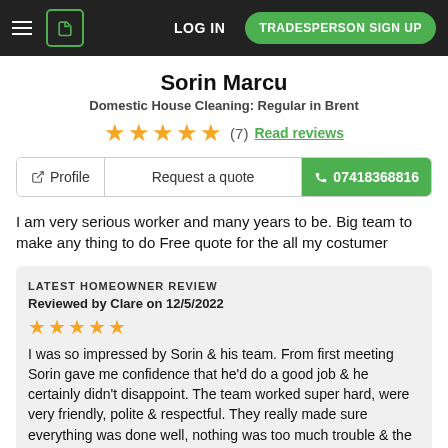LOG IN | TRADESPERSON SIGN UP
Sorin Marcu
Domestic House Cleaning: Regular in Brent
★★★★★ (7) Read reviews
Profile | Request a quote | 07418368816
I am very serious worker and many years to be. Big team to make any thing to do Free quote for the all my costumer
LATEST HOMEOWNER REVIEW
Reviewed by Clare on 12/5/2022
★★★★★
I was so impressed by Sorin & his team. From first meeting Sorin gave me confidence that he'd do a good job & he certainly didn't disappoint. The team worked super hard, were very friendly, polite & respectful. They really made sure everything was done well, nothing was too much trouble & the end result is beyond my expectations. Thank you very